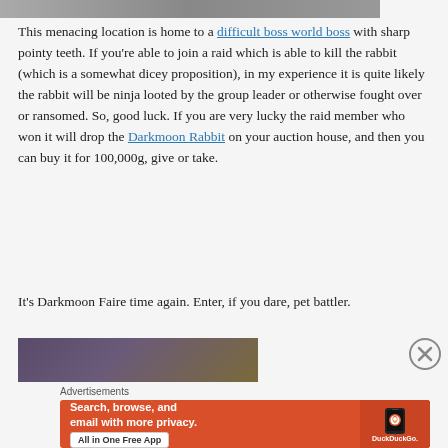[Figure (photo): Partial top image, cropped, showing dark scenery]
This menacing location is home to a difficult boss world boss with sharp pointy teeth. If you're able to join a raid which is able to kill the rabbit (which is a somewhat dicey proposition), in my experience it is quite likely the rabbit will be ninja looted by the group leader or otherwise fought over or ransomed. So, good luck. If you are very lucky the raid member who won it will drop the Darkmoon Rabbit on your auction house, and then you can buy it for 100,000g, give or take.
It's Darkmoon Faire time again. Enter, if you dare, pet battler.
[Figure (photo): Partial bottom image showing purple/dark scene]
Advertisements
[Figure (infographic): DuckDuckGo advertisement banner: Search, browse, and email with more privacy. All in One Free App. DuckDuckGo.]